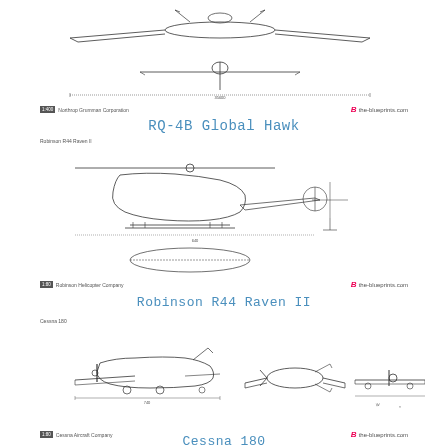[Figure (engineering-diagram): RQ-4B Global Hawk UAV blueprint three-view drawing (top/front/side) with dimension lines]
RQ-4B Global Hawk
[Figure (engineering-diagram): Robinson R44 Raven II helicopter blueprint three-view drawing with dimension lines, showing side, front and top views]
Robinson R44 Raven II
[Figure (engineering-diagram): Cessna 180 airplane blueprint three-view drawing showing side, top and front views with dimension lines]
Cessna 180